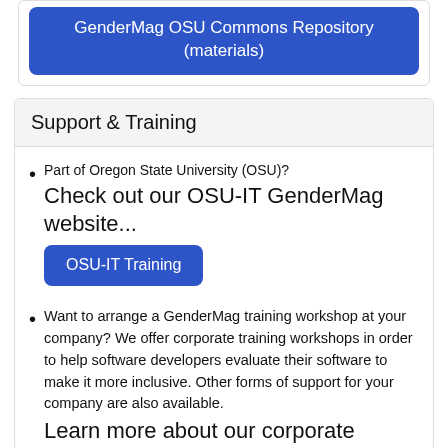[Figure (other): Blue button/link labeled 'GenderMag OSU Commons Repository (materials)']
Support & Training
Part of Oregon State University (OSU)? Check out our OSU-IT GenderMag website...
[Figure (other): Blue button labeled 'OSU-IT Training']
Want to arrange a GenderMag training workshop at your company? We offer corporate training workshops in order to help software developers evaluate their software to make it more inclusive. Other forms of support for your company are also available.
Learn more about our corporate